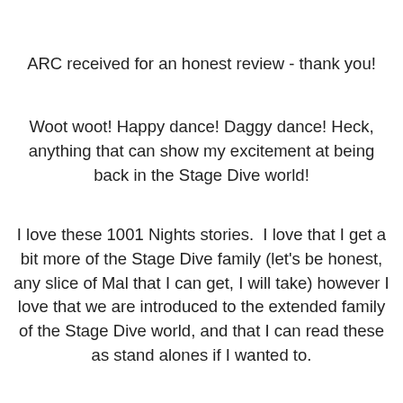ARC received for an honest review - thank you!
Woot woot! Happy dance! Daggy dance! Heck, anything that can show my excitement at being back in the Stage Dive world!
I love these 1001 Nights stories. I love that I get a bit more of the Stage Dive family (let's be honest, any slice of Mal that I can get, I will take) however I love that we are introduced to the extended family of the Stage Dive world, and that I can read these as stand alones if I wanted to.
We have met Adam in passing in previous books, but it was great to get to know him better.
And gah, this was a story that I didn't know that I